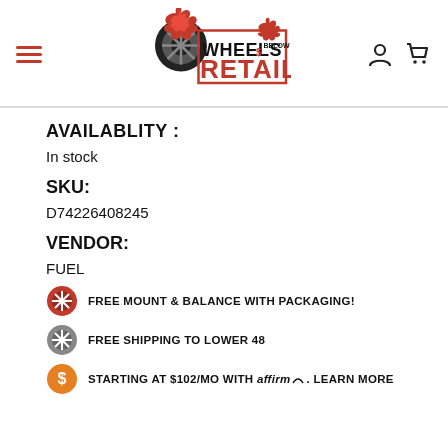[Figure (logo): Wheels Below Retail logo with flaming tire graphic]
AVAILABLITY :
In stock
SKU:
D74226408245
VENDOR:
FUEL
FREE MOUNT & BALANCE WITH PACKAGING!
FREE SHIPPING TO LOWER 48
STARTING AT $102/MO WITH affirm. LEARN MORE